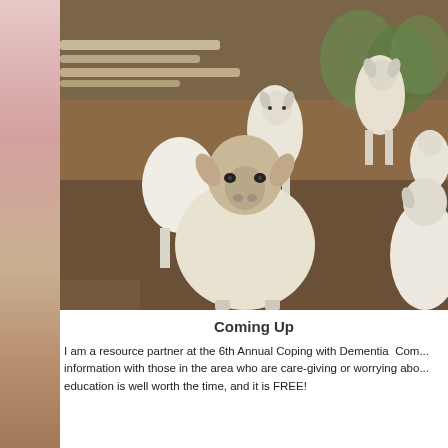[Figure (photo): A group of white goats and sheep in an outdoor farm setting with dirt ground, logs, and trees in the background. One goat faces the camera directly in the foreground.]
Coming Up
I am a resource partner at the 6th Annual Coping with Dementia  Con... information with those in the area who are care-giving or worrying abo... education is well worth the time, and it is FREE!